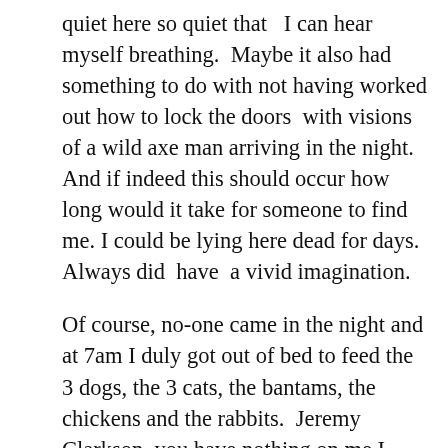quiet here so quiet that  I can hear myself breathing.  Maybe it also had something to do with not having worked out how to lock the doors  with visions of a wild axe man arriving in the night. And if indeed this should occur how long would it take for someone to find me. I could be lying here dead for days. Always did  have  a vivid imagination.
Of course, no-one came in the night and at 7am I duly got out of bed to feed the 3 dogs, the 3 cats, the bantams, the chickens and the rabbits.  Jeremy Clarkson, you have nothing on me I could take you on any day. That said have you ever tried to herd unwilling chickens into their coup at bed time – no mean feat.